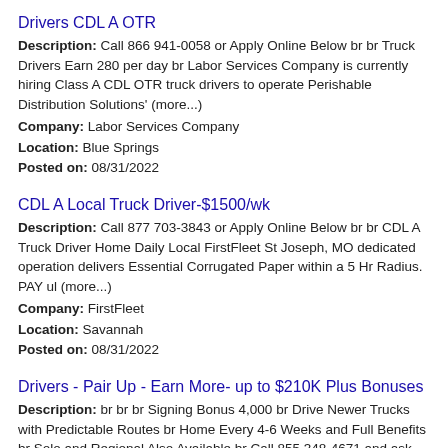Drivers CDL A OTR
Description: Call 866 941-0058 or Apply Online Below br br Truck Drivers Earn 280 per day br Labor Services Company is currently hiring Class A CDL OTR truck drivers to operate Perishable Distribution Solutions' (more...)
Company: Labor Services Company
Location: Blue Springs
Posted on: 08/31/2022
CDL A Local Truck Driver-$1500/wk
Description: Call 877 703-3843 or Apply Online Below br br CDL A Truck Driver Home Daily Local FirstFleet St Joseph, MO dedicated operation delivers Essential Corrugated Paper within a 5 Hr Radius. PAY ul (more...)
Company: FirstFleet
Location: Savannah
Posted on: 08/31/2022
Drivers - Pair Up - Earn More- up to $210K Plus Bonuses
Description: br br br Signing Bonus 4,000 br Drive Newer Trucks with Predictable Routes br Home Every 4-6 Weeks and Full Benefits br Solo and Regional Also Available br Call 855 348-4671 and ask (more...)